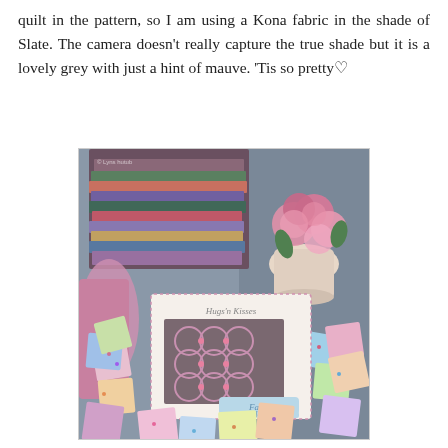quilt in the pattern, so I am using a Kona fabric in the shade of Slate. The camera doesn't really capture the true shade but it is a lovely grey with just a hint of mauve. 'Tis so pretty♡
[Figure (photo): Photo of colourful Liberty-style fabric pieces and folded fabrics scattered on a blue-grey surface, with a quilt pattern booklet labelled 'Fairy Floss' in the centre and a vase of pink roses in the background.]